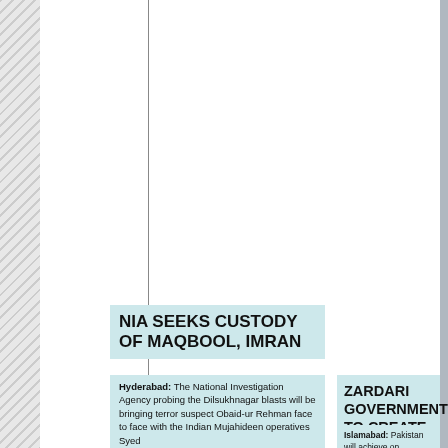NIA SEEKS CUSTODY OF MAQBOOL, IMRAN
Hyderabad: The National Investigation Agency probing the Dilsukhnagar blasts will be bringing terror suspect Obaid-ur Rehman face to face with the Indian Mujahideen operatives Syed
ZARDARI GOVERNMENT TO CREATE HISTORY
Islamabad: Pakistan will achieve on Saturday a signifi-